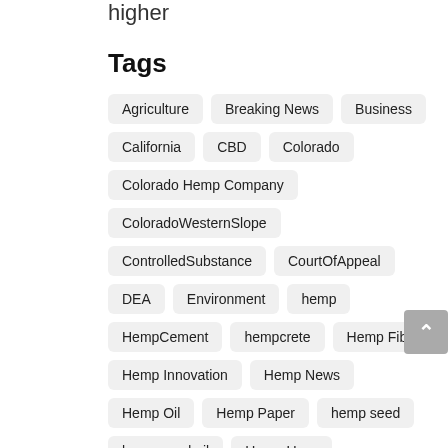higher
Tags
Agriculture
Breaking News
Business
California
CBD
Colorado
Colorado Hemp Company
ColoradoWesternSlope
ControlledSubstance
CourtOfAppeal
DEA
Environment
hemp
HempCement
hempcrete
Hemp Fiber
Hemp Innovation
Hemp News
Hemp Oil
Hemp Paper
hemp seed
hemp seed oil
Hemp Uses
industrial hemp
Industrial Hemp News
Kentucky Hemp
MarihuanaExtracts
MarijuanaExtract
national hemp association
New Hampshire bill HB151
Ninth Circuit